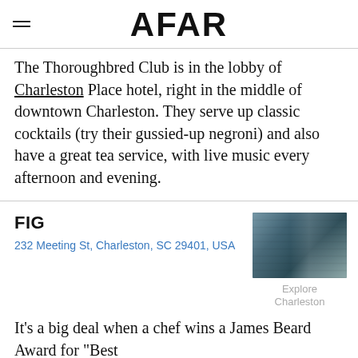AFAR
The Thoroughbred Club is in the lobby of Charleston Place hotel, right in the middle of downtown Charleston. They serve up classic cocktails (try their gussied-up negroni) and also have a great tea service, with live music every afternoon and evening.
FIG
232 Meeting St, Charleston, SC 29401, USA
[Figure (photo): Interior photo of a bar/restaurant with shelves of bottles and pendant lighting, warm tones with teal/blue-green accents]
Explore Charleston
It's a big deal when a chef wins a James Beard Award for "Best